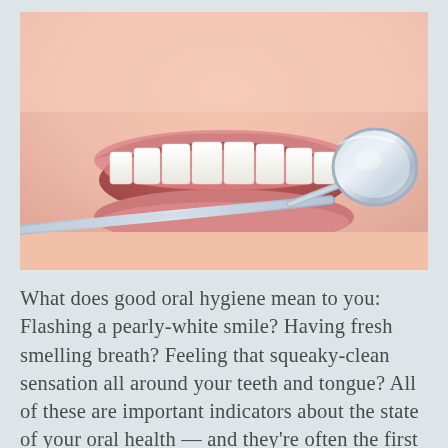[Figure (photo): Close-up photo of a person smiling with bright white teeth, with a dental mirror/inspection tool being held near the mouth by a dentist.]
What does good oral hygiene mean to you: Flashing a pearly-white smile? Having fresh smelling breath? Feeling that squeaky-clean sensation all around your teeth and tongue? All of these are important indicators about the state of your oral health — and they're often the first